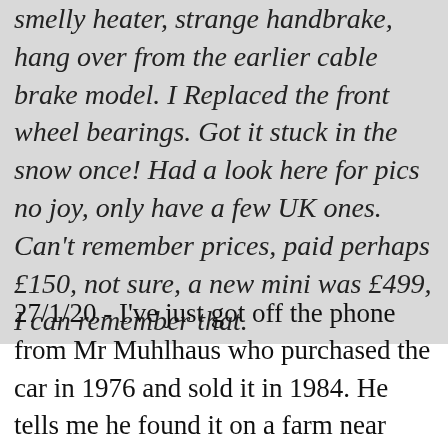smelly heater, strange handbrake, hang over from the earlier cable brake model. I Replaced the front wheel bearings. Got it stuck in the snow once! Had a look here for pics no joy, only have a few UK ones. Can't remember prices, paid perhaps £150, not sure, a new mini was £499, I can remember that.
27/1/20 - I've just got off the phone from Mr Muhlhaus who purchased the car in 1976 and sold it in 1984. He tells me he found it on a farm near Crawley in the corner of a field and it had been used for storing Hay. He had a 1957 already and purchased this one. It was a runner so he drove it home